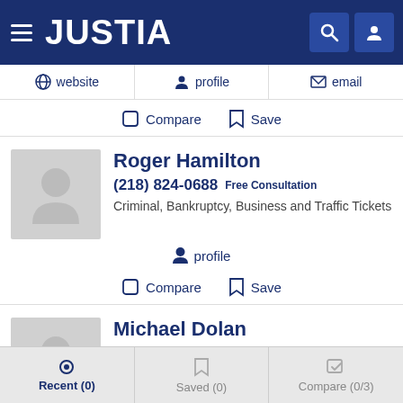JUSTIA
website  profile  email
Compare  Save
Roger Hamilton
(218) 824-0688 Free Consultation
Criminal, Bankruptcy, Business and Traffic Tickets
profile
Compare  Save
Michael Dolan
(320) 762-2361
Criminal, Arbitration & Mediation, DWI and Divorce
Recent (0)  Saved (0)  Compare (0/3)